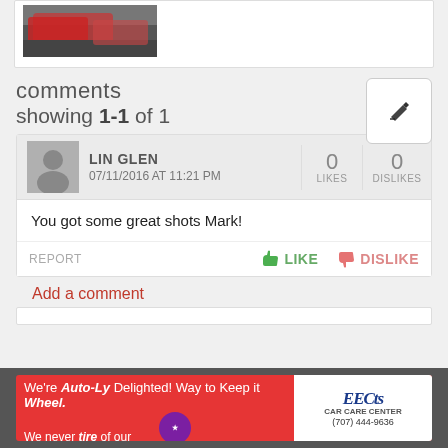[Figure (photo): Partial view of cars, cropped at top of page]
comments
showing 1-1 of 1
[Figure (illustration): Edit/pencil button icon in a rounded rectangle]
LIN GLEN
07/11/2016 AT 11:21 PM
0 LIKES  0 DISLIKES
You got some great shots Mark!
REPORT   LIKE   DISLIKE
Add a comment
[Figure (photo): Advertisement banner: EECtc's Car Care Center - We're Auto-Ly Delighted! Way to Keep it Wheel. We never tire of our customer's appreciation! (707) 444-9636]